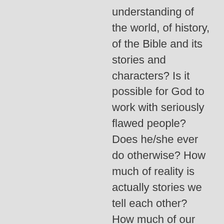understanding of the world, of history, of the Bible and its stories and characters? Is it possible for God to work with seriously flawed people? Does he/she ever do otherwise? How much of reality is actually stories we tell each other? How much of our very language is made up of endless memes, each of